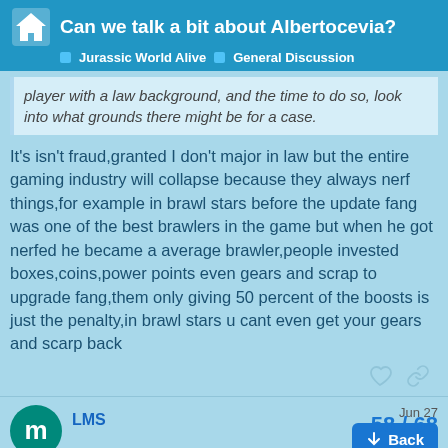Can we talk a bit about Albertocevia? — Jurassic World Alive — General Discussion
player with a law background, and the time to do so, look into what grounds there might be for a case.
It's isn't fraud,granted I don't major in law but the entire gaming industry will collapse because they always nerf things,for example in brawl stars before the update fang was one of the best brawlers in the game but when he got nerfed he became a average brawler,people invested boxes,coins,power points even gears and scrap to upgrade fang,them only giving 50 percent of the boosts is just the penalty,in brawl stars u cant even get your gears and scarp back
LMS
Jun 27
Just because you are paying for a digital p change the fact that it's fraudulent
58 / 68